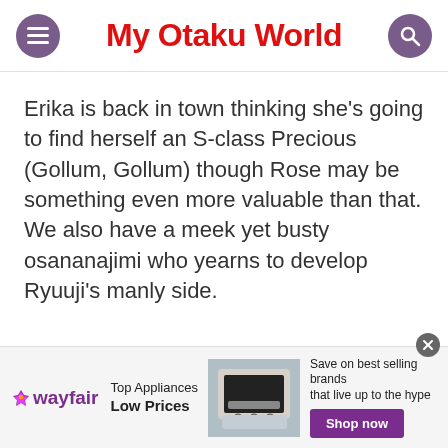My Otaku World
Erika is back in town thinking she’s going to find herself an S-class Precious (Gollum, Gollum) though Rose may be something even more valuable than that. We also have a meek yet busty osananajimi who yearns to develop Ryuuji’s manly side.
[Figure (infographic): Wayfair advertisement banner: Wayfair logo, Top Appliances Low Prices text, image of kitchen range/stove, Save on best selling brands that live up to the hype, Shop now purple button]